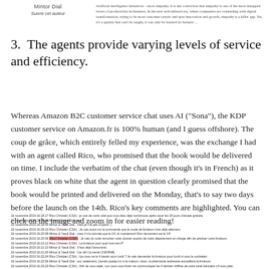[Figure (screenshot): Top strip showing a chat interface with brand name 'Mintor Dial' on the left and a short excerpt of text about artificial intelligence initiatives and empathy on the right. Below the brand name is a link 'Suivre cet auteur'.]
3. The agents provide varying levels of service and efficiency.
Whereas Amazon B2C customer service chat uses AI ("Sona"), the KDP customer service on Amazon.fr is 100% human (and I guess offshore). The coup de grâce, which entirely felled my experience, was the exchange I had with an agent called Rico, who promised that the book would be delivered on time. I include the verbatim of the chat (even though it's in French) as it proves black on white that the agent in question clearly promised that the book would be printed and delivered on the Monday, that's to say two days before the launch on the 14th. Rico's key comments are highlighted. You can click on the image and zoom in for easier reading!
[Figure (screenshot): Chat log in French between Mintor & Yaedi Dial and Rico Christian (CSA) with several exchanges dated 16 novembre 2019, some lines highlighted in red/pink (Rico Christian CSA entries).]